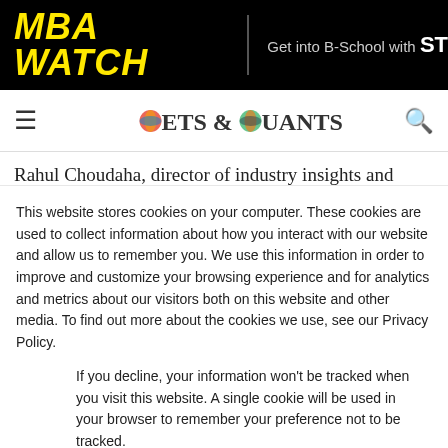MBA WATCH | Get into B-School with ST
[Figure (logo): Poets & Quants logo with globe graphics]
Rahul Choudaha, director of industry insights and research communications at GMAC, writes in a recent blog. He cites GMAC's Prospective
This website stores cookies on your computer. These cookies are used to collect information about how you interact with our website and allow us to remember you. We use this information in order to improve and customize your browsing experience and for analytics and metrics about our visitors both on this website and other media. To find out more about the cookies we use, see our Privacy Policy.
If you decline, your information won't be tracked when you visit this website. A single cookie will be used in your browser to remember your preference not to be tracked.